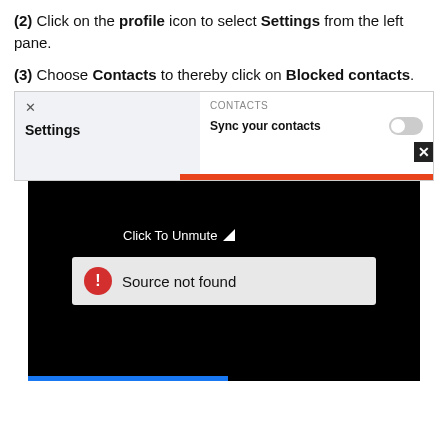(2) Click on the profile icon to select Settings from the left pane.
(3) Choose Contacts to thereby click on Blocked contacts.
[Figure (screenshot): Screenshot showing a settings panel with a left sidebar labeled 'Settings' on a light gray background, and a right panel showing 'CONTACTS' section with 'Sync your contacts' and a toggle switch. An orange bar appears at the bottom. A black video player overlay shows 'Click To Unmute' text with cursor icon, and a 'Source not found' error message with a red warning circle icon on a gray background.]